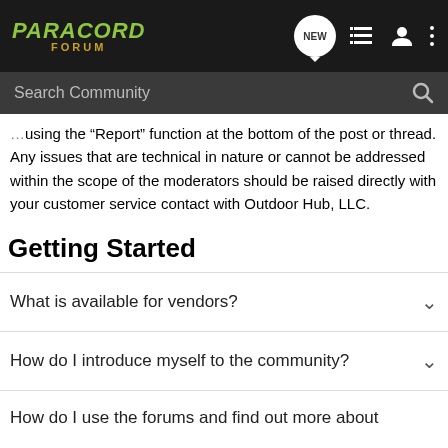PARACORD FORUM — navigation bar with NEW, list, user, and menu icons, plus Search Community bar
using the “Report” function at the bottom of the post or thread. Any issues that are technical in nature or cannot be addressed within the scope of the moderators should be raised directly with your customer service contact with Outdoor Hub, LLC.
Getting Started
What is available for vendors?
How do I introduce myself to the community?
How do I use the forums and find out more about